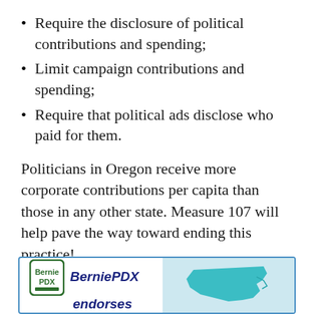Require the disclosure of political contributions and spending;
Limit campaign contributions and spending;
Require that political ads disclose who paid for them.
Politicians in Oregon receive more corporate contributions per capita than those in any other state. Measure 107 will help pave the way toward ending this practice!
Learn more and get involved at fairandhonestelections.org/
[Figure (logo): BerniePDX endorses banner with logo on left and teal Oregon map graphic on right]